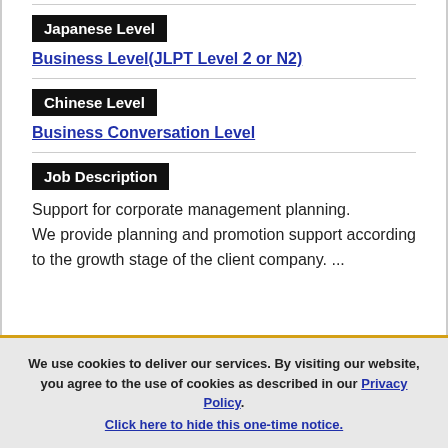Japanese Level
Business Level(JLPT Level 2 or N2)
Chinese Level
Business Conversation Level
Job Description
Support for corporate management planning.
We provide planning and promotion support according to the growth stage of the client company. ...
We use cookies to deliver our services. By visiting our website, you agree to the use of cookies as described in our Privacy Policy.
Click here to hide this one-time notice.